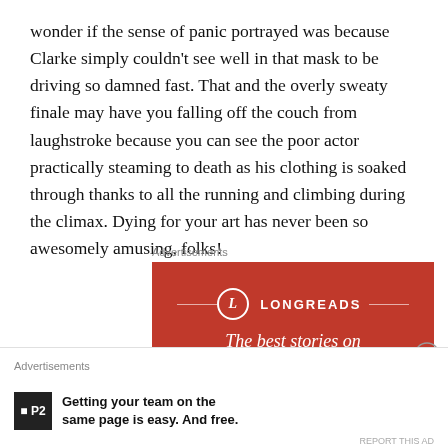wonder if the sense of panic portrayed was because Clarke simply couldn't see well in that mask to be driving so damned fast. That and the overly sweaty finale may have you falling off the couch from laughstroke because you can see the poor actor practically steaming to death as his clothing is soaked through thanks to all the running and climbing during the climax. Dying for your art has never been so awesomely amusing, folks!
Advertisements
[Figure (other): Longreads advertisement banner with red background. Shows the Longreads logo (circle with L) and text 'The best stories on' with more text cut off below.]
Advertisements
[Figure (other): P2 advertisement: black square logo with P2 text. Ad copy reads: Getting your team on the same page is easy. And free.]